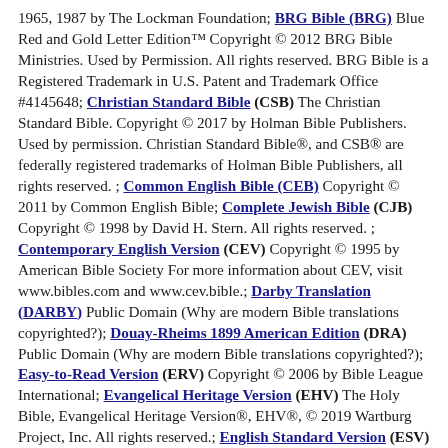1965, 1987 by The Lockman Foundation; BRG Bible (BRG) Blue Red and Gold Letter Edition™ Copyright © 2012 BRG Bible Ministries. Used by Permission. All rights reserved. BRG Bible is a Registered Trademark in U.S. Patent and Trademark Office #4145648; Christian Standard Bible (CSB) The Christian Standard Bible. Copyright © 2017 by Holman Bible Publishers. Used by permission. Christian Standard Bible®, and CSB® are federally registered trademarks of Holman Bible Publishers, all rights reserved. ; Common English Bible (CEB) Copyright © 2011 by Common English Bible; Complete Jewish Bible (CJB) Copyright © 1998 by David H. Stern. All rights reserved. ; Contemporary English Version (CEV) Copyright © 1995 by American Bible Society For more information about CEV, visit www.bibles.com and www.cev.bible.; Darby Translation (DARBY) Public Domain (Why are modern Bible translations copyrighted?); Douay-Rheims 1899 American Edition (DRA) Public Domain (Why are modern Bible translations copyrighted?); Easy-to-Read Version (ERV) Copyright © 2006 by Bible League International; Evangelical Heritage Version (EHV) The Holy Bible, Evangelical Heritage Version®, EHV®, © 2019 Wartburg Project, Inc. All rights reserved.; English Standard Version (ESV) The Holy Bible, English